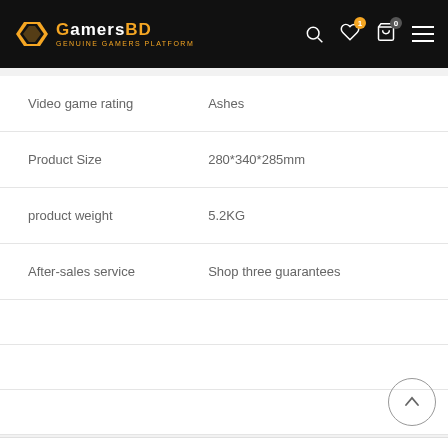GamersBD - GENUINE GAMERS PLATFORM
| Attribute | Value |
| --- | --- |
| Video game rating | Ashes |
| Product Size | 280*340*285mm |
| product weight | 5.2KG |
| After-sales service | Shop three guarantees |
REVIEWS (0)
SHIPPING & DELIVERY